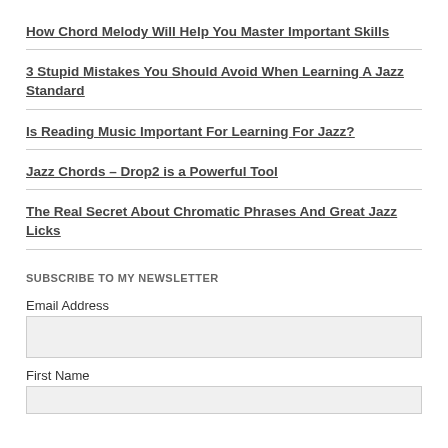How Chord Melody Will Help You Master Important Skills
3 Stupid Mistakes You Should Avoid When Learning A Jazz Standard
Is Reading Music Important For Learning For Jazz?
Jazz Chords – Drop2 is a Powerful Tool
The Real Secret About Chromatic Phrases And Great Jazz Licks
SUBSCRIBE TO MY NEWSLETTER
Email Address
First Name